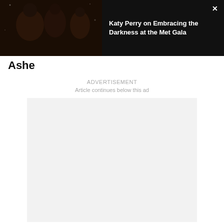[Figure (screenshot): Video thumbnail banner showing people at Met Gala event on dark background with close button and title text 'Katy Perry on Embracing the Darkness at the Met Gala']
Ashe
ADVERTISEMENT
Article continues below this ad
[Figure (other): Advertisement placeholder box (light gray empty rectangle)]